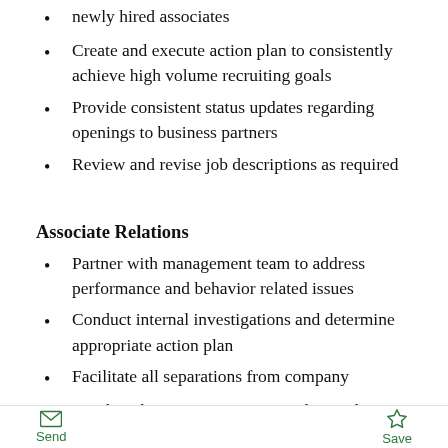newly hired associates
Create and execute action plan to consistently achieve high volume recruiting goals
Provide consistent status updates regarding openings to business partners
Review and revise job descriptions as required
Associate Relations
Partner with management team to address performance and behavior related issues
Conduct internal investigations and determine appropriate action plan
Facilitate all separations from company
Conduct departure interviews and provide monthly recap
Provide recommendations to business partners to improve retention and engagement
Send   Save